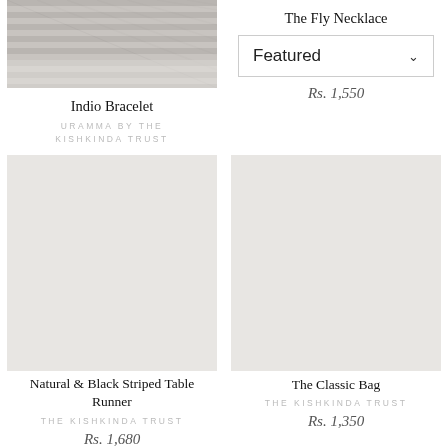[Figure (photo): Product photo of Indio Bracelet, striped/grey woven texture]
Indio Bracelet
URAMMA BY THE KISHKINDA TRUST
Rs. 1,090
The Fly Necklace
Featured
Rs. 1,550
[Figure (photo): Product photo area for Natural & Black Striped Table Runner (blank/light grey)]
[Figure (photo): Product photo area for The Classic Bag (blank/light grey)]
Natural & Black Striped Table Runner
THE KISHKINDA TRUST
Rs. 1,680
The Classic Bag
THE KISHKINDA TRUST
Rs. 1,350